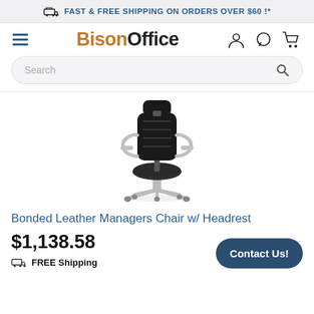FAST & FREE SHIPPING ON ORDERS OVER $60 !*
[Figure (logo): BisonOffice logo with hamburger menu and navigation icons (user, chat, cart)]
Search
[Figure (photo): Bonded leather managers office chair with headrest, chrome arms, black leather seat/back, on rolling base]
Bonded Leather Managers Chair w/ Headrest
$1,138.58
FREE Shipping
Contact Us!